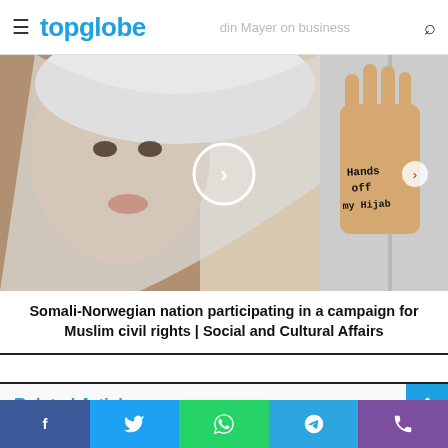topglobe — din Mayer on business
[Figure (photo): A Somali-Norwegian woman wearing a white hijab holds up her palm with the text 'Hands off my Hijab' written on it. A video play button overlay is centered on the image.]
Somali-Norwegian nation participating in a campaign for Muslim civil rights | Social and Cultural Affairs
Related Articles
[Figure (other): Social share buttons: Facebook, Twitter, WhatsApp, Telegram, Phone]